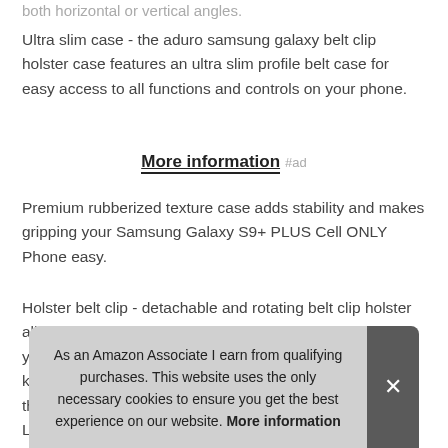both horizontal or vertical angles.
Ultra slim case - the aduro samsung galaxy belt clip holster case features an ultra slim profile belt case for easy access to all functions and controls on your phone.
More information #ad
Premium rubberized texture case adds stability and makes gripping your Samsung Galaxy S9+ PLUS Cell ONLY Phone easy.
Holster belt clip - detachable and rotating belt clip holster allows for vertical and horizontal holstering positions for your con keep this LIFE with
As an Amazon Associate I earn from qualifying purchases. This website uses the only necessary cookies to ensure you get the best experience on our website. More information